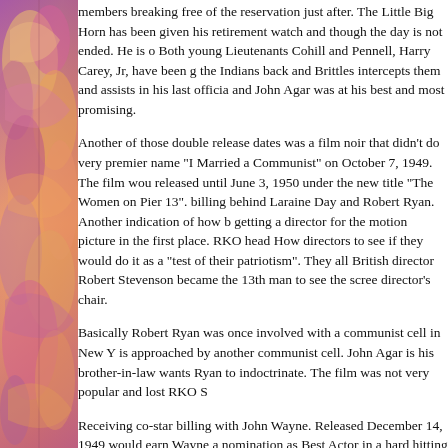[Figure (illustration): Decorative watercolor illustration on the left side of the page, featuring colorful abstract floral or figurative imagery in purples, oranges, and pinks.]
members breaking free of the reservation just after. The Little Big Horn has been given his retirement watch and though the day is not ended. He is o Both young Lieutenants Cohill and Pennell, Harry Carey, Jr, have been g the Indians back and Brittles intercepts them and assists in his last officia and John Agar was at his best and most promising.
Another of those double release dates was a film noir that didn't do very premier name "I Married a Communist" on October 7, 1949. The film wou released until June 3, 1950 under the new title "The Women on Pier 13". billing behind Laraine Day and Robert Ryan. Another indication of how b getting a director for the motion picture in the first place. RKO head How directors to see if they would do it as a "test of their patriotism". They all British director Robert Stevenson became the 13th man to see the scree director's chair.
Basically Robert Ryan was once involved with a communist cell in New Y is approached by another communist cell. John Agar is his brother-in-law wants Ryan to indoctrinate. The film was not very popular and lost RKO S
Receiving co-star billing with John Wayne. Released December 14, 1949 would earn Wayne a nomination as Best Actor in a hard hitting study of S the United States Marine Corps. Stryker is despised by Agar's PFC Pete officer Stryker idolizes. By the end of the film Conway has come to a cha but it takes the death of Stryker on "The Sands of Iwo Jima" to finally bri a flag waver of the period, but not in the normal way. The story pulls no p